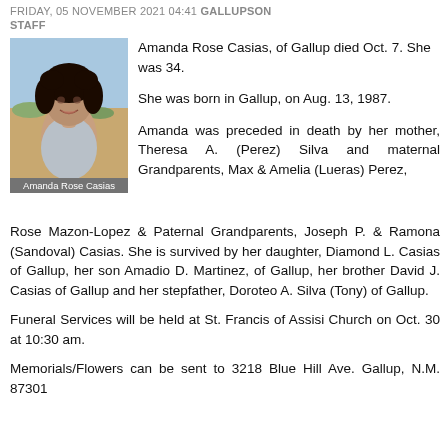FRIDAY, 05 NOVEMBER 2021 04:41 GALLUPSON STAFF
[Figure (photo): Photo of Amanda Rose Casias, a young woman with dark curly hair, smiling, outdoors with desert landscape in background. Caption reads: Amanda Rose Casias]
Amanda Rose Casias, of Gallup died Oct. 7. She was 34.
She was born in Gallup, on Aug. 13, 1987.
Amanda was preceded in death by her mother, Theresa A. (Perez) Silva and maternal Grandparents, Max & Amelia (Lueras) Perez, Rose Mazon-Lopez & Paternal Grandparents, Joseph P. & Ramona (Sandoval) Casias. She is survived by her daughter, Diamond L. Casias of Gallup, her son Amadio D. Martinez, of Gallup, her brother David J. Casias of Gallup and her stepfather, Doroteo A. Silva (Tony) of Gallup.
Funeral Services will be held at St. Francis of Assisi Church on Oct. 30 at 10:30 am.
Memorials/Flowers can be sent to 3218 Blue Hill Ave. Gallup, N.M. 87301